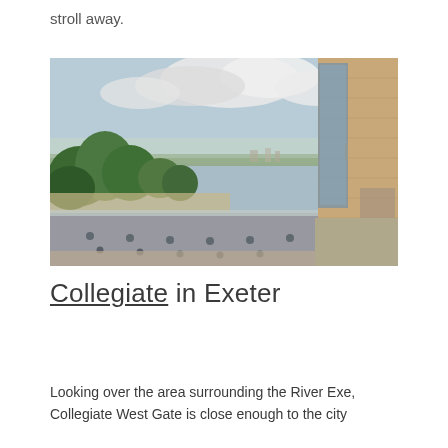stroll away.
[Figure (photo): Rooftop terrace view overlooking the city of Exeter and the area surrounding the River Exe, with glass balustrade railings in the foreground, green trees, residential buildings and hills in the background under a partly cloudy sky. A modern brick building facade is visible on the right.]
Collegiate in Exeter
Looking over the area surrounding the River Exe, Collegiate West Gate is close enough to the city